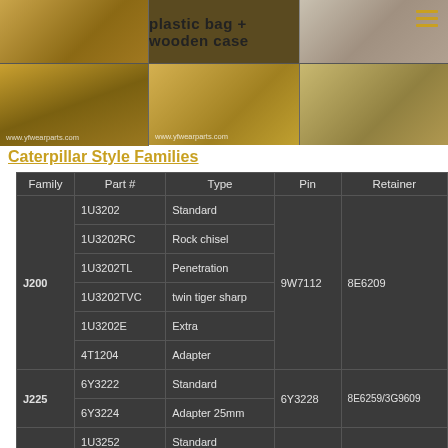[Figure (photo): Product photos showing yellow excavator bucket teeth and wear parts, with text 'plastic bag + wooden case' and website watermarks www.yfwearparts.com]
Caterpillar Style Families
| Family | Part # | Type | Pin | Retainer |
| --- | --- | --- | --- | --- |
| J200 | 1U3202 | Standard | 9W7112 | 8E6209 |
| J200 | 1U3202RC | Rock chisel | 9W7112 | 8E6209 |
| J200 | 1U3202TL | Penetration | 9W7112 | 8E6209 |
| J200 | 1U3202TVC | twin tiger sharp | 9W7112 | 8E6209 |
| J200 | 1U3202E | Extra | 9W7112 | 8E6209 |
| J200 | 4T1204 | Adapter | 9W7112 | 8E6209 |
| J225 | 6Y3222 | Standard | 6Y3228 | 8E6259/3G9609 |
| J225 | 6Y3224 | Adapter 25mm | 6Y3228 | 8E6259/3G9609 |
|  | 1U3252 | Standard |  |  |